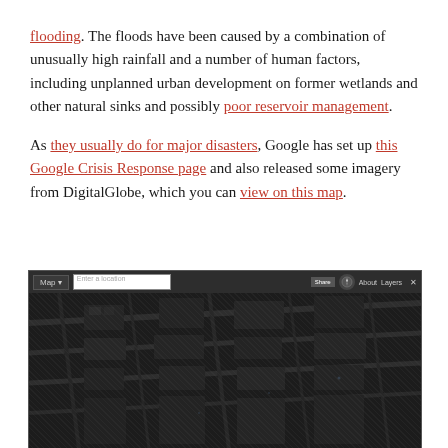flooding. The floods have been caused by a combination of unusually high rainfall and a number of human factors, including unplanned urban development on former wetlands and other natural sinks and possibly poor reservoir management.
As they usually do for major disasters, Google has set up this Google Crisis Response page and also released some imagery from DigitalGlobe, which you can view on this map.
[Figure (screenshot): Screenshot of a Google Crisis Response map showing a dark satellite/aerial view of a flooded urban area, with a toolbar at the top containing Map dropdown, Enter a location input, Share button, compass icon, About and Layers links.]